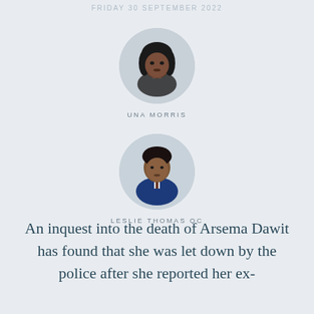FRIDAY 30 SEPTEMBER 2022
[Figure (photo): Circular portrait photo of Una Morris, a woman with dark hair]
UNA MORRIS
[Figure (photo): Circular portrait photo of Leslie Thomas QC, a man in a blue suit]
LESLIE THOMAS QC
An inquest into the death of Arsema Dawit has found that she was let down by the police after she reported her ex-